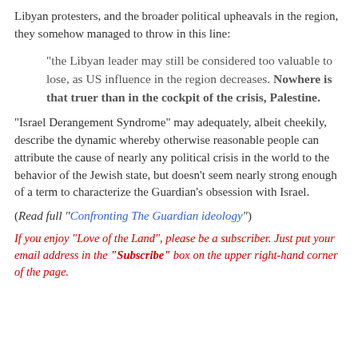Libyan protesters, and the broader political upheavals in the region, they somehow managed to throw in this line:
“the Libyan leader may still be considered too valuable to lose, as US influence in the region decreases. Nowhere is that truer than in the cockpit of the crisis, Palestine.
“Israel Derangement Syndrome” may adequately, albeit cheekily, describe the dynamic whereby otherwise reasonable people can attribute the cause of nearly any political crisis in the world to the behavior of the Jewish state, but doesn’t seem nearly strong enough of a term to characterize the Guardian’s obsession with Israel.
(Read full "Confronting The Guardian ideology")
If you enjoy "Love of the Land", please be a subscriber. Just put your email address in the "Subscribe" box on the upper right-hand corner of the page.